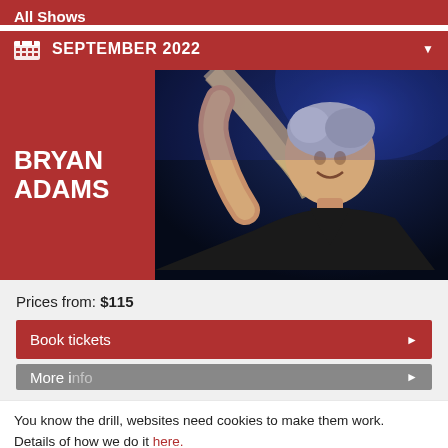All Shows
SEPTEMBER 2022
[Figure (photo): Bryan Adams performing on stage, holding a guitar above his head, wearing a black t-shirt, with blue stage lighting in the background]
BRYAN ADAMS
Prices from: $115
Book tickets
More info
You know the drill, websites need cookies to make them work. Details of how we do it here.
Got it!